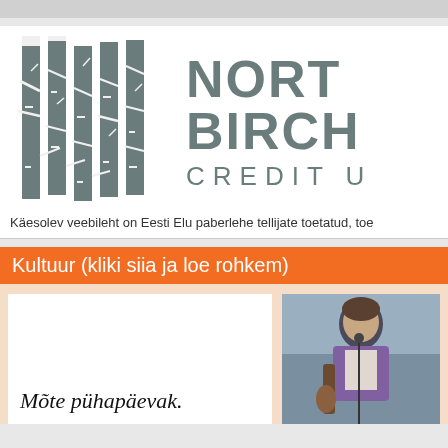[Figure (logo): Northern Birch Credit Union logo — stylized birch trees in grey on left, 'NORTH BIRCH' large text and 'CREDIT U' below on right]
Käesolev veebileht on Eesti Elu paberlehe tellijate toetatud, toe...
Kultuur (kliki siia ja loe rohkem)
[Figure (illustration): White box with italic text 'Mõte pühapäevak.']
[Figure (photo): Photo of a man with a guitar performing on stage, wearing a purple jacket]